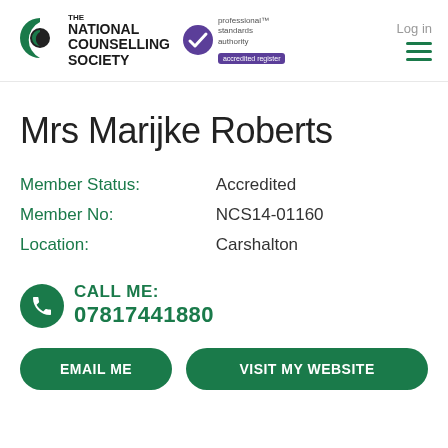The National Counselling Society | professional standards authority accredited register | Log in
Mrs Marijke Roberts
| Label | Value |
| --- | --- |
| Member Status: | Accredited |
| Member No: | NCS14-01160 |
| Location: | Carshalton |
CALL ME: 07817441880
EMAIL ME
VISIT MY WEBSITE